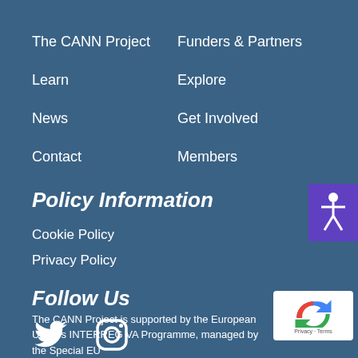The CANN Project
Funders & Partners
Learn
Explore
News
Get Involved
Contact
Members
Policy Information
Cookie Policy
Privacy Policy
Follow Us
[Figure (infographic): Twitter and Instagram social media icons in white]
The CANN Project is supported by the European Union's INTERREG VA Programme, managed by the Special EU
[Figure (logo): reCAPTCHA badge with Google logo, Privacy and Terms text]